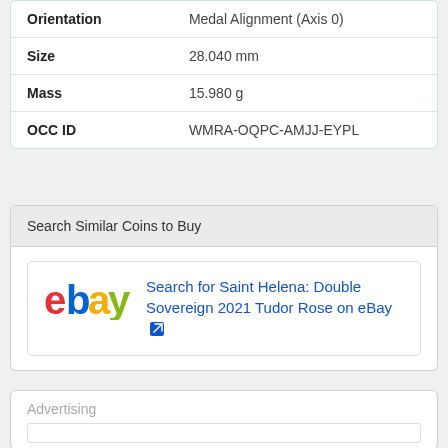| Property | Value |
| --- | --- |
| Orientation | Medal Alignment (Axis 0) |
| Size | 28.040 mm |
| Mass | 15.980 g |
| OCC ID | WMRA-OQPC-AMJJ-EYPL |
Search Similar Coins to Buy
Search for Saint Helena: Double Sovereign 2021 Tudor Rose on eBay
Advertising